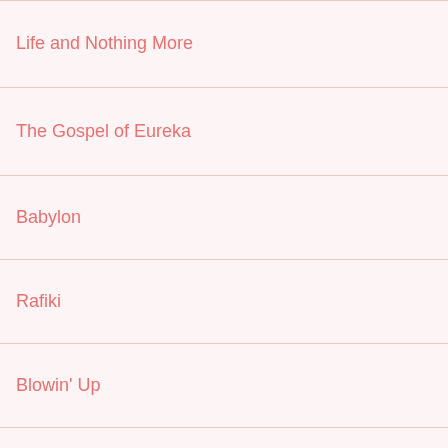Life and Nothing More
The Gospel of Eureka
Babylon
Rafiki
Blowin' Up
New Breed Film Showcase: A Creative Cypher Collaborat
The Killing Floor
Give Me Liberty
Downtown 81
Charm City
Miles Davis: Birth of the Cool